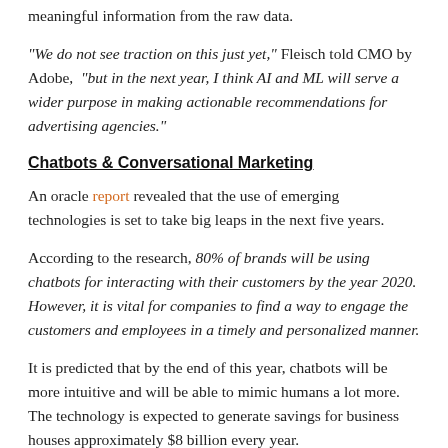meaningful information from the raw data.
"We do not see traction on this just yet," Fleisch told CMO by Adobe, "but in the next year, I think AI and ML will serve a wider purpose in making actionable recommendations for advertising agencies."
Chatbots & Conversational Marketing
An oracle report revealed that the use of emerging technologies is set to take big leaps in the next five years.
According to the research, 80% of brands will be using chatbots for interacting with their customers by the year 2020. However, it is vital for companies to find a way to engage the customers and employees in a timely and personalized manner.
It is predicted that by the end of this year, chatbots will be more intuitive and will be able to mimic humans a lot more. The technology is expected to generate savings for business houses approximately $8 billion every year.